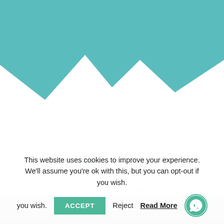[Figure (illustration): Teal/turquoise zigzag mountain-like decorative graphic header shape on white background]
The Villa
Take a look at the villa's interior and exterior
[Figure (photo): Gray interior room photo strip, partially visible]
This website uses cookies to improve your experience. We'll assume you're ok with this, but you can opt-out if you wish.
ACCEPT  Reject  Read More